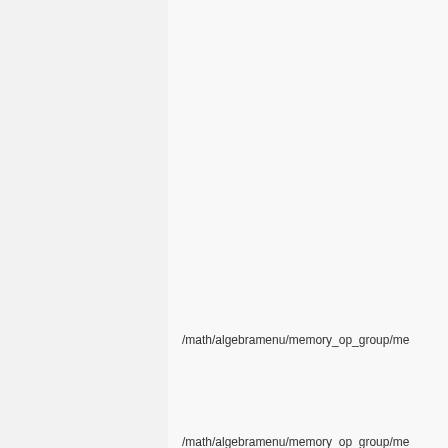/math/algebramenu/memory_op_group/me
/math/algebramenu/memory_op_group/me